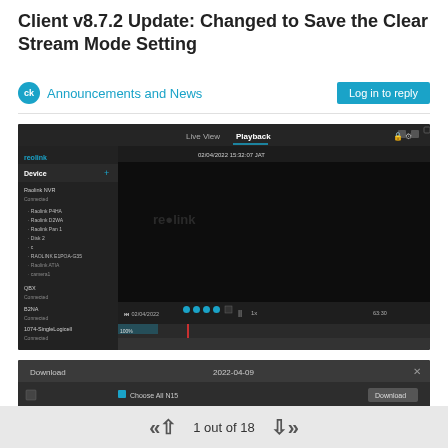Client v8.7.2 Update: Changed to Save the Clear Stream Mode Setting
Announcements and News
Log in to reply
[Figure (screenshot): Reolink client software screenshot showing Live View and Playback tabs, device list on left panel with multiple cameras listed, dark-themed video playback interface with timeline and thumbnail strip at bottom, timestamp 02/04/2022 15:32:07 JAT]
[Figure (screenshot): Download dialog box showing date 2022-04-09 with Choose All N15 checkbox and Download button]
1 out of 18